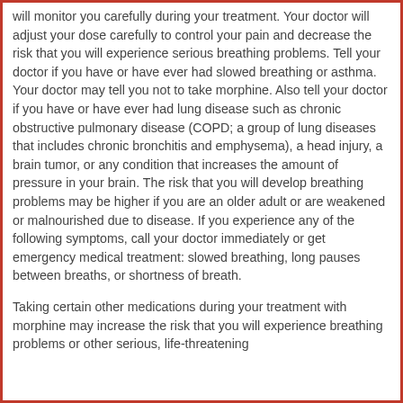will monitor you carefully during your treatment. Your doctor will adjust your dose carefully to control your pain and decrease the risk that you will experience serious breathing problems. Tell your doctor if you have or have ever had slowed breathing or asthma. Your doctor may tell you not to take morphine. Also tell your doctor if you have or have ever had lung disease such as chronic obstructive pulmonary disease (COPD; a group of lung diseases that includes chronic bronchitis and emphysema), a head injury, a brain tumor, or any condition that increases the amount of pressure in your brain. The risk that you will develop breathing problems may be higher if you are an older adult or are weakened or malnourished due to disease. If you experience any of the following symptoms, call your doctor immediately or get emergency medical treatment: slowed breathing, long pauses between breaths, or shortness of breath.
Taking certain other medications during your treatment with morphine may increase the risk that you will experience breathing problems or other serious, life-threatening breathing problems or other serious, life-threatening. Tell your doctor if